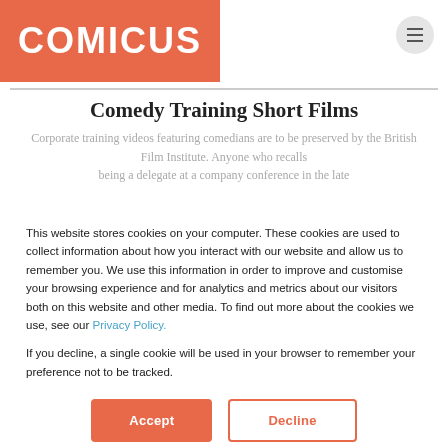[Figure (logo): COMICUS logo — white bold text on salmon/orange-red rectangular background]
Comedy Training Short Films
Corporate training videos featuring comedians are to be preserved by the British Film Institute. Anyone who recalls being a delegate at a company conference in the late…
This website stores cookies on your computer. These cookies are used to collect information about how you interact with our website and allow us to remember you. We use this information in order to improve and customise your browsing experience and for analytics and metrics about our visitors both on this website and other media. To find out more about the cookies we use, see our Privacy Policy.
If you decline, a single cookie will be used in your browser to remember your preference not to be tracked.